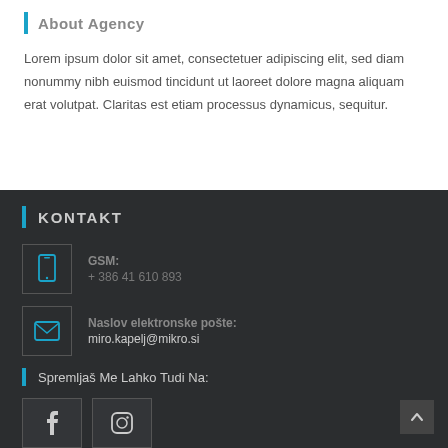About Agency
Lorem ipsum dolor sit amet, consectetuer adipiscing elit, sed diam nonummy nibh euismod tincidunt ut laoreet dolore magna aliquam erat volutpat. Claritas est etiam processus dynamicus, sequitur.
KONTAKT
GSM:
+ 386 41 610 893
Naslov elektronske pošte:
miro.kapelj@mikro.si
Spremljaš Me Lahko Tudi Na:
[Figure (illustration): Facebook and Instagram social media icon boxes]